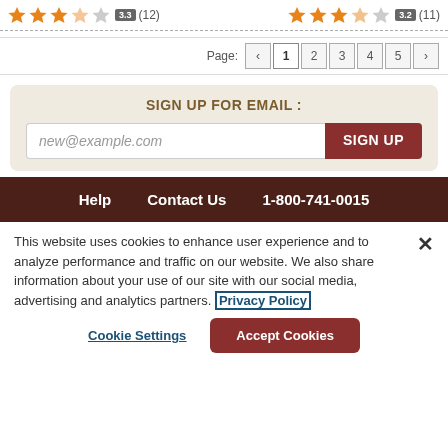[Figure (other): Star rating 3.3 out of 5 with 12 reviews (top left) and 3.2 out of 5 with 11 reviews (top right)]
Page: 1 2 3 4 5 (pagination navigation)
SIGN UP FOR EMAIL :
new@example.com  SIGN UP
Help   Contact Us   1-800-741-0015
This website uses cookies to enhance user experience and to analyze performance and traffic on our website. We also share information about your use of our site with our social media, advertising and analytics partners. Privacy Policy
Cookie Settings   Accept Cookies